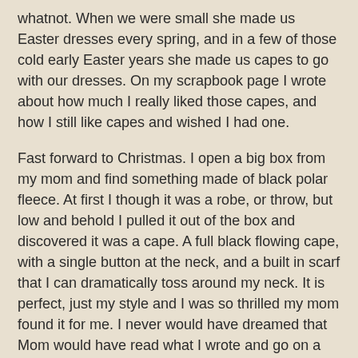whatnot. When we were small she made us Easter dresses every spring, and in a few of those cold early Easter years she made us capes to go with our dresses. On my scrapbook page I wrote about how much I really liked those capes, and how I still like capes and wished I had one.
Fast forward to Christmas. I open a big box from my mom and find something made of black polar fleece. At first I though it was a robe, or throw, but low and behold I pulled it out of the box and discovered it was a cape. A full black flowing cape, with a single button at the neck, and a built in scarf that I can dramatically toss around my neck. It is perfect, just my style and I was so thrilled my mom found it for me. I never would have dreamed that Mom would have read what I wrote and go on a mission to find me a cape.
My kids, and probably others as well, think it's really weird, and I have no idea if it's at all fashionable or not, but I love it. It has such a nice swoop to it and feels artsy. I definitely feel like I've dressed like an artist when I wear it, which is nearly everyday. I don't care if other people laugh and think I'm weird or a caped crusader wannabe, to me, it just feels like